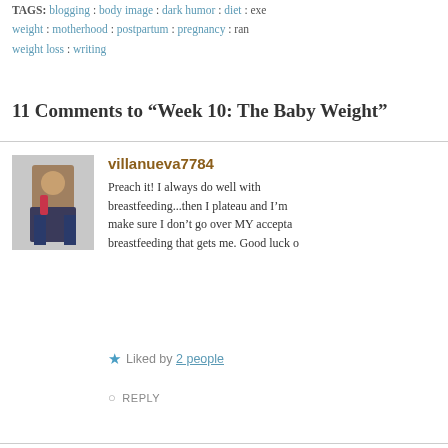TAGS: blogging : body image : dark humor : diet : exercise : weight : motherhood : postpartum : pregnancy : rants : weight loss : writing
11 Comments to “Week 10: The Baby Weight”
villanueva7784
Preach it! I always do well with breastfeeding...then I plateau and I’m make sure I don’t go over MY acceptable breastfeeding that gets me. Good luck o
Liked by 2 people
REPLY